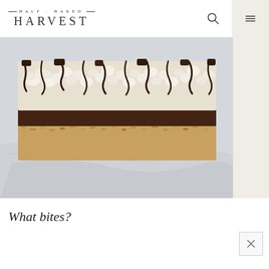HALF BAKED HARVEST
[Figure (photo): Close-up of a layered dessert bar with a granola/oat base, chocolate layer, marshmallow-popcorn topping drizzled with chocolate, photographed on a marble surface.]
What bites?